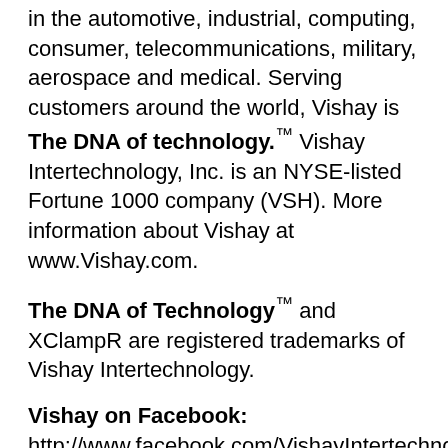in the automotive, industrial, computing, consumer, telecommunications, military, aerospace and medical. Serving customers around the world, Vishay is The DNA of technology.™ Vishay Intertechnology, Inc. is an NYSE-listed Fortune 1000 company (VSH). More information about Vishay at www.Vishay.com.
The DNA of Technology™ and XClampR are registered trademarks of Vishay Intertechnology.
Vishay on Facebook: http://www.facebook.com/VishayIntertechnology Vishay's Twitter feed: http://twitter.com/vishayindust
Share it on Twitter: http://twitter.com/intent/tweet?text=.@vishayindust today introduced three new